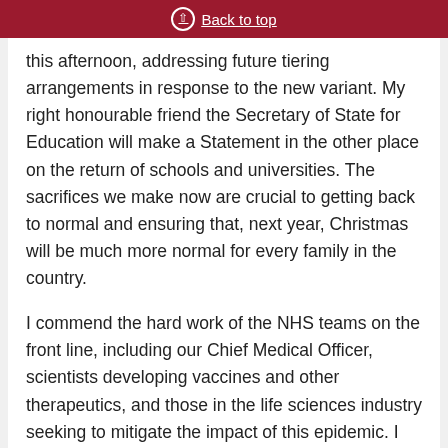Back to top
this afternoon, addressing future tiering arrangements in response to the new variant. My right honourable friend the Secretary of State for Education will make a Statement in the other place on the return of schools and universities. The sacrifices we make now are crucial to getting back to normal and ensuring that, next year, Christmas will be much more normal for every family in the country.
I commend the hard work of the NHS teams on the front line, including our Chief Medical Officer, scientists developing vaccines and other therapeutics, and those in the life sciences industry seeking to mitigate the impact of this epidemic. I also express the sympathy of us all to those feeling